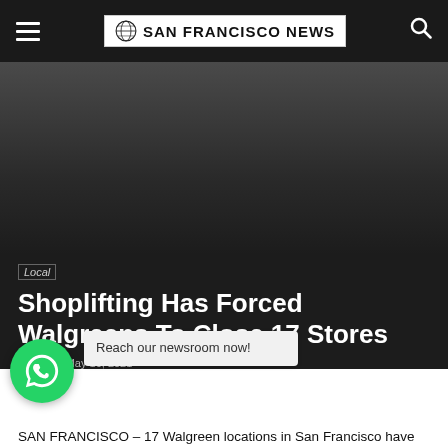SAN FRANCISCO NEWS
[Figure (photo): Dark hero image area, mostly dark gradient background]
Local
Shoplifting Has Forced Walgreens To Close 17 Stores
By John  May 16, 2021
Reach our newsroom now!
SAN FRANCISCO – 17 Walgreen locations in San Francisco have